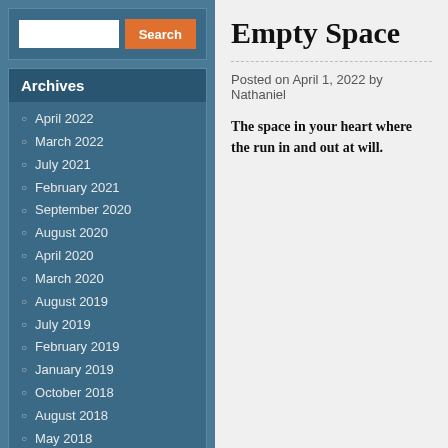Archives
April 2022
March 2022
July 2021
February 2021
September 2020
August 2020
April 2020
March 2020
August 2019
July 2019
February 2019
January 2019
October 2018
August 2018
May 2018
January 2017
June 2016
July 2015
Meta
Register
Log in
Empty Space
Posted on April 1, 2022 by Nathaniel
The space in your heart where the run in and out at will.